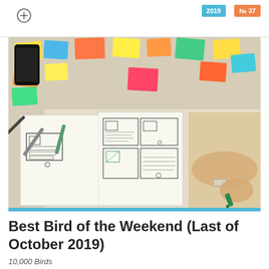2019 | 37
[Figure (photo): A person drawing wireframe sketches on paper at a desk covered with colorful sticky notes, markers, and design materials.]
Best Bird of the Weekend (Last of October 2019)
10,000 Birds